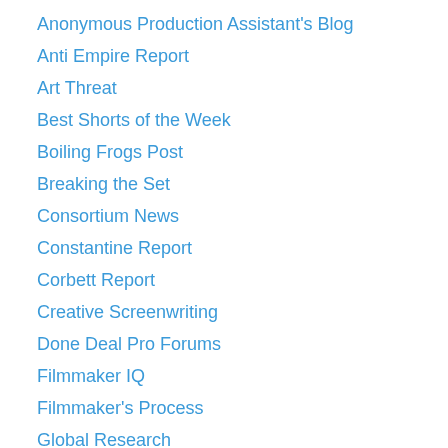Anonymous Production Assistant's Blog
Anti Empire Report
Art Threat
Best Shorts of the Week
Boiling Frogs Post
Breaking the Set
Consortium News
Constantine Report
Corbett Report
Creative Screenwriting
Done Deal Pro Forums
Filmmaker IQ
Filmmaker's Process
Global Research
Hi Fructose
In Gaza
Land Destroyer
Levant Report
Madcow Morning News
Mentorless